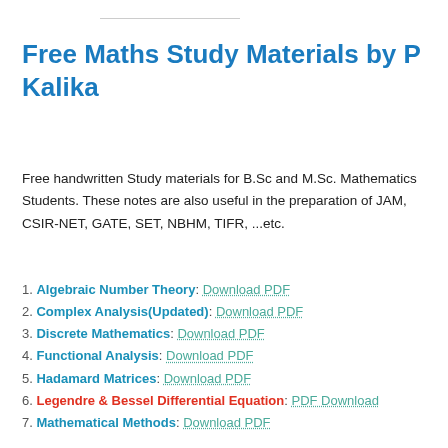Free Maths Study Materials by P Kalika
Free handwritten Study materials for B.Sc and M.Sc. Mathematics Students. These notes are also useful in the preparation of JAM, CSIR-NET, GATE, SET, NBHM, TIFR, ...etc.
1. Algebraic Number Theory: Download PDF
2. Complex Analysis(Updated): Download PDF
3. Discrete Mathematics: Download PDF
4. Functional Analysis: Download PDF
5. Hadamard Matrices: Download PDF
6. Legendre & Bessel Differential Equation: PDF Download
7. Mathematical Methods: Download PDF